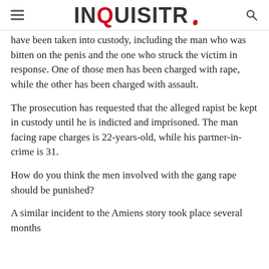INQUISITR
have been taken into custody, including the man who was bitten on the penis and the one who struck the victim in response. One of those men has been charged with rape, while the other has been charged with assault.
The prosecution has requested that the alleged rapist be kept in custody until he is indicted and imprisoned. The man facing rape charges is 22-years-old, while his partner-in-crime is 31.
How do you think the men involved with the gang rape should be punished?
A similar incident to the Amiens story took place several months